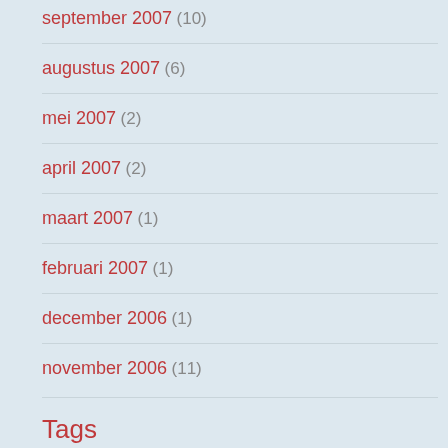september 2007 (10)
augustus 2007 (6)
mei 2007 (2)
april 2007 (2)
maart 2007 (1)
februari 2007 (1)
december 2006 (1)
november 2006 (11)
Tags